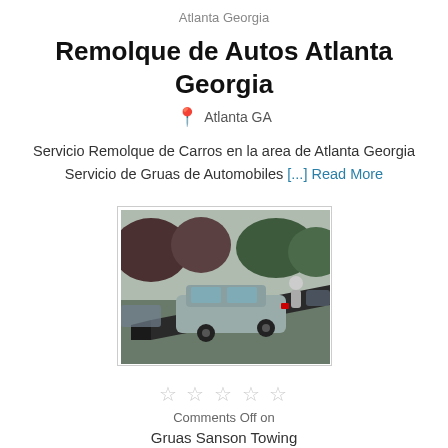Atlanta Georgia
Remolque de Autos Atlanta Georgia
📍 Atlanta GA
Servicio Remolque de Carros en la area de Atlanta Georgia Servicio de Gruas de Automobiles [...] Read More
[Figure (photo): A car being loaded onto a flatbed tow truck, with trees and parked cars visible in the background.]
★★★★★
Comments Off on
Gruas Sanson Towing